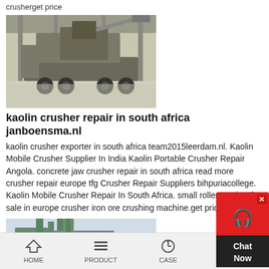crusherget price
[Figure (photo): Mobile crusher machine on a truck inside an industrial facility]
kaolin crusher repair in south africa janboensma.nl
kaolin crusher exporter in south africa team2015leerdam.nl. Kaolin Mobile Crusher Supplier In India Kaolin Portable Crusher Repair Angola. concrete jaw crusher repair in south africa read more crusher repair europe tfg Crusher Repair Suppliers bihpuriacollege. Kaolin Mobile Crusher Repair In South Africa. small roller crusher for sale in europe crusher iron ore crushing machine.get price
[Figure (photo): Industrial factory building with dust collection equipment and pipes]
HOME   PRODUCT   CASE   CONTACT